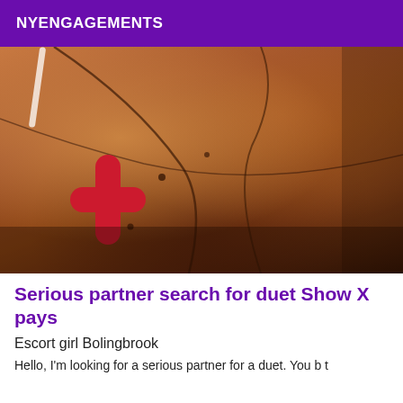NYENGAGEMENTS
[Figure (photo): Close-up warm-toned skin photo with a red cross/plus symbol overlay in the lower left area and a white cord/strap visible at the top.]
Serious partner search for duet Show X pays
Escort girl Bolingbrook
Hello, I'm looking for a serious partner for a duet. You b t